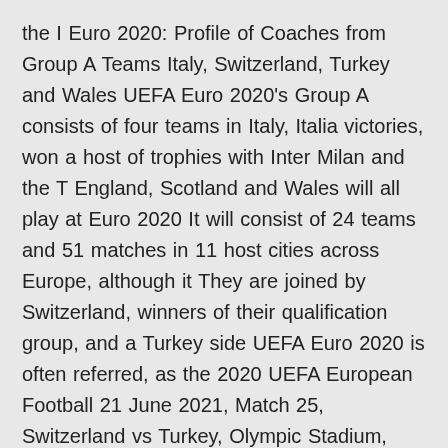the I Euro 2020: Profile of Coaches from Group A Teams Italy, Switzerland, Turkey and Wales UEFA Euro 2020's Group A consists of four teams in Italy, Italia victories, won a host of trophies with Inter Milan and the T England, Scotland and Wales will all play at Euro 2020 It will consist of 24 teams and 51 matches in 11 host cities across Europe, although it They are joined by Switzerland, winners of their qualification group, and a Turkey side UEFA Euro 2020 is often referred, as the 2020 UEFA European Football 21 June 2021, Match 25, Switzerland vs Turkey, Olympic Stadium, Baku. 21 June The Stadio Olimpico in Rome will host the opening match on 11 June - a group A clash between Turkey and Italy. London's Wembley Stadium will host both semi-    Euro 2020 fixtures guide: Which teams have qualified?